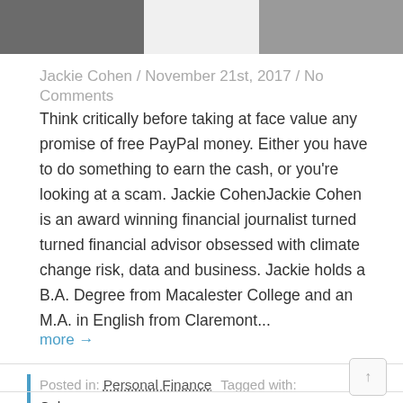[Figure (photo): Partial photo strip at top of page showing two cropped images on left and right sides with white/light space in the middle]
Jackie Cohen / November 21st, 2017 / No Comments
Think critically before taking at face value any promise of free PayPal money. Either you have to do something to earn the cash, or you're looking at a scam. Jackie CohenJackie Cohen is an award winning financial journalist turned turned financial advisor obsessed with climate change risk, data and business. Jackie holds a B.A. Degree from Macalester College and an M.A. in English from Claremont...
more →
Posted in: Personal Finance  Tagged with: Cah, money, PayPal